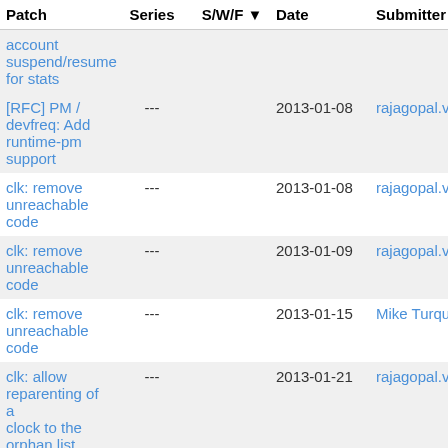| Patch | Series | S/W/F | Date | Submitter |
| --- | --- | --- | --- | --- |
| account suspend/resume for stats |  |  |  |  |
| [RFC] PM / devfreq: Add runtime-pm support | --- |  | 2013-01-08 | rajagopal.venk |
| clk: remove unreachable code | --- |  | 2013-01-08 | rajagopal.venk |
| clk: remove unreachable code | --- |  | 2013-01-09 | rajagopal.venk |
| clk: remove unreachable code | --- |  | 2013-01-15 | Mike Turquette |
| clk: allow reparenting of a clock to the orphan list | --- |  | 2013-01-21 | rajagopal.venk |
| [1/4] davinci: cpuidle - use global variable for ddr2 flag | --- |  | 2013-02-01 | Daniel Lezcano |
| [2/4] davinci: cpuidle - move code to prevent forward declaration | --- |  | 2013-02-01 | Daniel Lezcano |
| [3/4] davinci: cpuidle - remove the one | --- |  | 2013-02-01 | Daniel Lezcano |